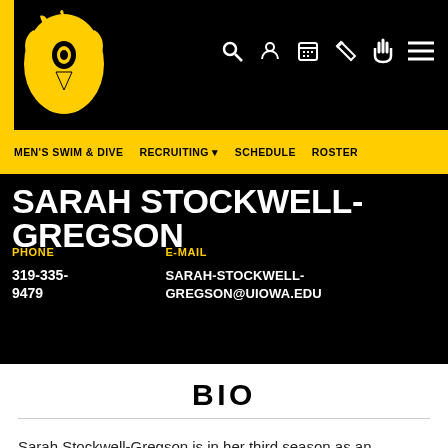University of Iowa Athletics - Men's Swim & Dive
MEN'S SWIM & DIVE   RECRUITING   SCHEDULE   ROSTER
SARAH STOCKWELL-GREGSON
PHONE: 319-335-9479   E-MAIL: SARAH-STOCKWELL-GREGSON@UIOWA.EDU
BIO
Sarah Stockwell-Gregson is in her third season as an assistant coach, the director of recruiting and women's